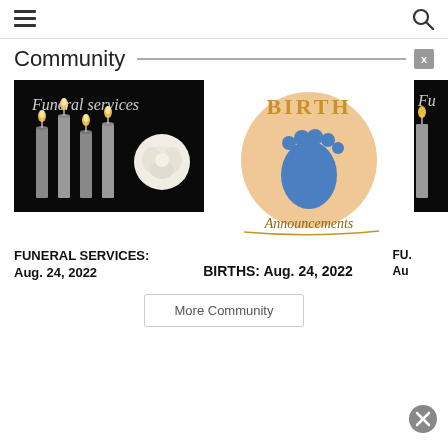☰ [hamburger menu]  [search icon]
Community
[Figure (photo): Funeral services image: candles and white rose on dark background with cursive text 'Funeral services']
[Figure (logo): Birth Announcements logo: circular peach background with blue baby footprint, text 'BIRTH Announcements' in gold/brown]
[Figure (photo): Partial funeral services image cropped on right edge]
FUNERAL SERVICES: Aug. 24, 2022
BIRTHS: Aug. 24, 2022
FU... Aug...
More Community